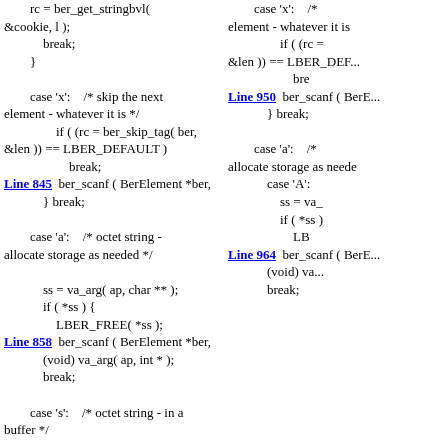rc = ber_get_stringbvl(
&cookie, l );
break;
}
case 'x':    /* skip the next element - whatever it is */
if ( (rc = ber_skip_tag( ber,
&len )) == LBER_DEFAULT )
break;
Line 845  ber_scanf ( BerElement *ber,
} break;
case 'a':    /* octet string - allocate storage as needed */
ss = va_arg( ap, char ** );
if ( *ss ) {
LBER_FREE( *ss );
Line 858  ber_scanf ( BerElement *ber,
(void) va_arg( ap, int * );
break;
case 's':    /* octet string - in a buffer */
case 'x':    /* skip the next element - whatever it is */
if ( (rc =
&len )) == LBER_DEF...
bre
Line 950  ber_scanf ( BerE...
} break;
case 'a':    /*
allocate storage as needed...
case 'A':
ss = va_...
if ( *ss )
LB...
Line 964  ber_scanf ( BerE...
(void) va...
break;